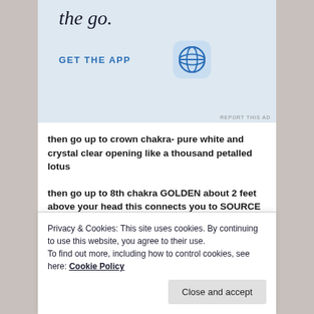[Figure (screenshot): WordPress app advertisement banner with light blue background, showing 'the go.' text, 'GET THE APP' link in blue, and WordPress 'W' icon]
then go up to crown chakra- pure white and crystal clear opening like a thousand petalled lotus
then go up to 8th chakra GOLDEN about 2 feet above your head this connects you to SOURCE all LIGHT
then state aloud: I am balanced, whole within myself, I
Privacy & Cookies: This site uses cookies. By continuing to use this website, you agree to their use.
To find out more, including how to control cookies, see here: Cookie Policy